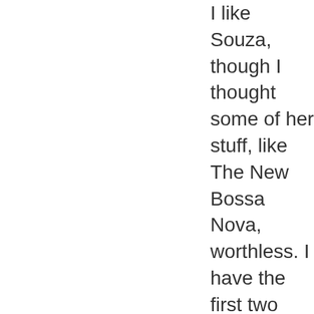I like Souza, though I thought some of her stuff, like The New Bossa Nova, worthless. I have the first two Duos albums, which I like although I can't listen to them all the way through. Probably because I don't know any of the